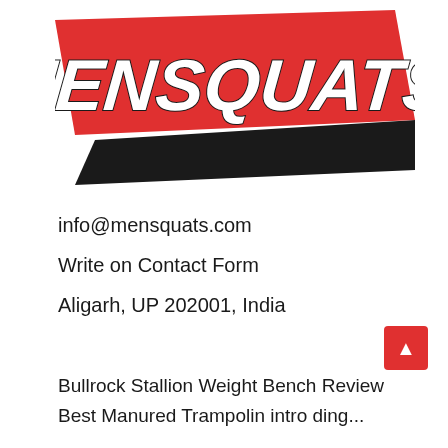[Figure (logo): MENSQUATS logo with bold white italic text on a red parallelogram background with a black shadow/stripe beneath]
info@mensquats.com
Write on Contact Form
Aligarh, UP 202001, India
Bullrock Stallion Weight Bench Review
Best Manured Trampolin intro ding...